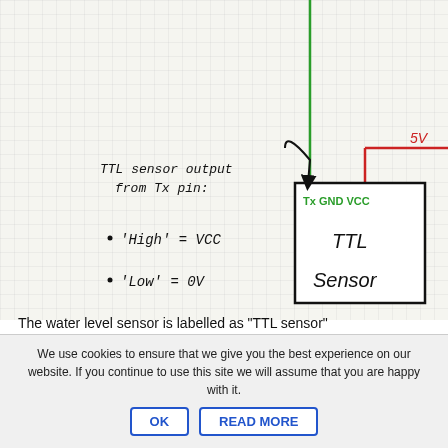[Figure (schematic): Hand-drawn schematic on grid paper showing a TTL Sensor box with Tx, GND, VCC pins. A green wire goes to GND (top), a red wire labeled '5V' connects to VCC (right), and an arrow points to Tx from a label 'TTL sensor output from TX pin'. Below the sensor box are handwritten notes: 'High' = VCC and 'Low' = 0V.]
The water level sensor is labelled as "TTL sensor"
How the water level sensor works:
It will be connected to the same ground as the
We use cookies to ensure that we give you the best experience on our website. If you continue to use this site we will assume that you are happy with it.